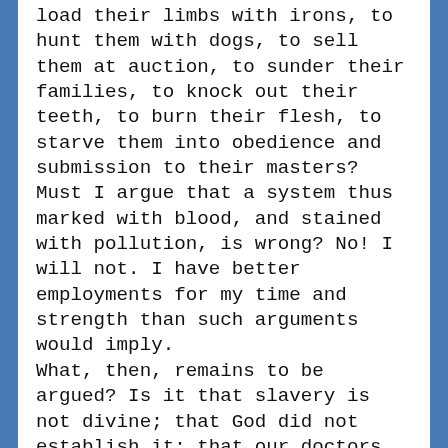load their limbs with irons, to hunt them with dogs, to sell them at auction, to sunder their families, to knock out their teeth, to burn their flesh, to starve them into obedience and submission to their masters? Must I argue that a system thus marked with blood, and stained with pollution, is wrong? No! I will not. I have better employments for my time and strength than such arguments would imply. What, then, remains to be argued? Is it that slavery is not divine; that God did not establish it; that our doctors of divinity are mistaken? There is blasphemy in the thought. That which is inhuman, cannot be divine! Who can reason on such a proposition? They that can, may; I cannot. The time for such argument is past. At a time like this, scorching irony, not convincing argument, is needed. O! had I the